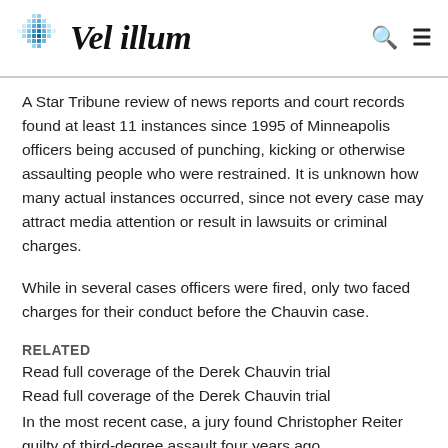Vel illum
A Star Tribune review of news reports and court records found at least 11 instances since 1995 of Minneapolis officers being accused of punching, kicking or otherwise assaulting people who were restrained. It is unknown how many actual instances occurred, since not every case may attract media attention or result in lawsuits or criminal charges.
While in several cases officers were fired, only two faced charges for their conduct before the Chauvin case.
RELATED
Read full coverage of the Derek Chauvin trial
Read full coverage of the Derek Chauvin trial
In the most recent case, a jury found Christopher Reiter guilty of third-degree assault four years ago